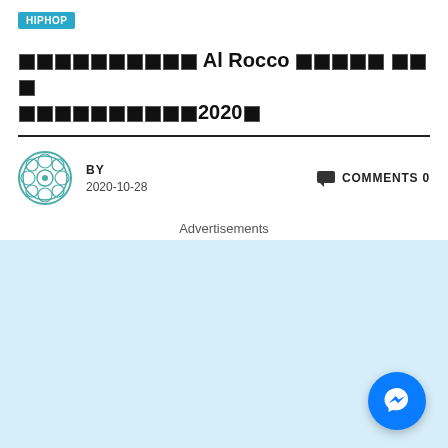HIPHOP
░░░░░░░░░░ Al Rocco ░░░░░ ░░░ ░░░░░░░░░░2020░
BY
2020-10-28
COMMENTS 0
Advertisements
[Figure (other): Light blue advertisement placeholder area]